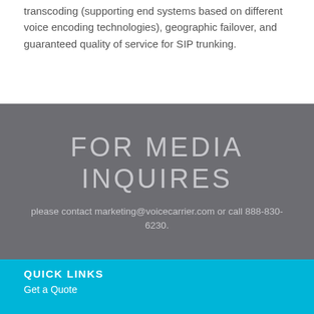transcoding (supporting end systems based on different voice encoding technologies), geographic failover, and guaranteed quality of service for SIP trunking.
FOR MEDIA INQUIRES
please contact marketing@voicecarrier.com or call 888-830-6230.
QUICK LINKS
Get a Quote